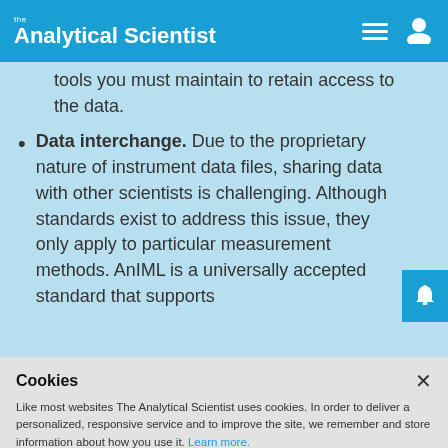the Analytical Scientist
tools you must maintain to retain access to the data.
Data interchange. Due to the proprietary nature of instrument data files, sharing data with other scientists is challenging. Although standards exist to address this issue, they only apply to particular measurement methods. AnIML is a universally accepted standard that supports
Cookies
Like most websites The Analytical Scientist uses cookies. In order to deliver a personalized, responsive service and to improve the site, we remember and store information about how you use it. Learn more.